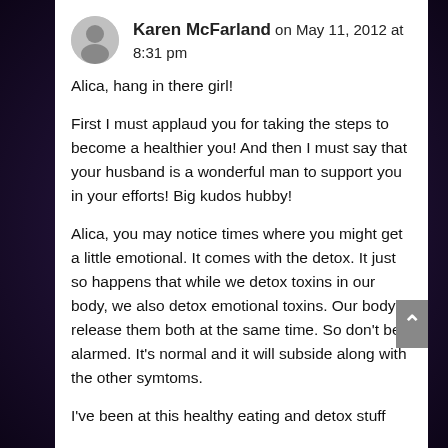Karen McFarland on May 11, 2012 at 8:31 pm
Alica, hang in there girl!

First I must applaud you for taking the steps to become a healthier you! And then I must say that your husband is a wonderful man to support you in your efforts! Big kudos hubby!

Alica, you may notice times where you might get a little emotional. It comes with the detox. It just so happens that while we detox toxins in our body, we also detox emotional toxins. Our body release them both at the same time. So don't be alarmed. It's normal and it will subside along with the other symtoms.

I've been at this healthy eating and detox stuff